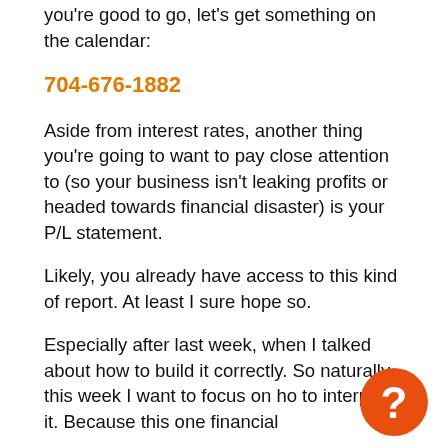you're good to go, let's get something on the calendar:
704-676-1882
Aside from interest rates, another thing you're going to want to pay close attention to (so your business isn't leaking profits or headed towards financial disaster) is your P/L statement.
Likely, you already have access to this kind of report. At least I sure hope so.
Especially after last week, when I talked about how to build it correctly. So naturally, this week I want to focus on ho to interpret it. Because this one financial